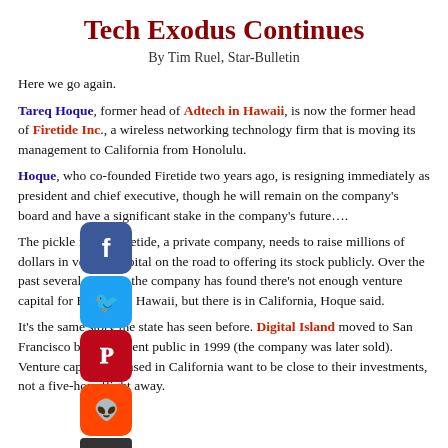Tech Exodus Continues
By Tim Ruel, Star-Bulletin
Here we go again.
Tareq Hoque, former head of Adtech in Hawaii, is now the former head of Firetide Inc., a wireless networking technology firm that is moving its management to California from Honolulu.
Hoque, who co-founded Firetide two years ago, is resigning immediately as president and chief executive, though he will remain on the company’s board and have a significant stake in the company’s future….
The pickle is that Firetide, a private company, needs to raise millions of dollars in venture capital on the road to offering its stock publicly. Over the past several months, the company has found there’s not enough venture capital for Firetide in Hawaii, but there is in California, Hoque said.
It’s the same story the state has seen before. Digital Island moved to San Francisco before it went public in 1999 (the company was later sold). Venture capitalists based in California want to be close to their investments, not a five-hour flight away.